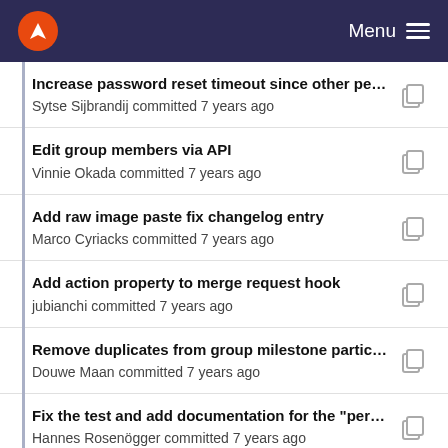Menu
Increase password reset timeout since other peop...
Sytse Sijbrandij committed 7 years ago
Edit group members via API
Vinnie Okada committed 7 years ago
Add raw image paste fix changelog entry
Marco Cyriacks committed 7 years ago
Add action property to merge request hook
jubianchi committed 7 years ago
Remove duplicates from group milestone particip...
Douwe Maan committed 7 years ago
Fix the test and add documentation for the "per-m...
Hannes Rosenögger committed 7 years ago
Acces groups with their path in API
jubianchi committed 7 years ago
Adds link to milestone and keeping resource cont...